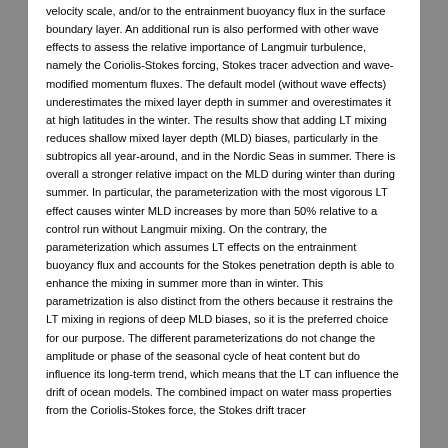velocity scale, and/or to the entrainment buoyancy flux in the surface boundary layer. An additional run is also performed with other wave effects to assess the relative importance of Langmuir turbulence, namely the Coriolis-Stokes forcing, Stokes tracer advection and wave-modified momentum fluxes. The default model (without wave effects) underestimates the mixed layer depth in summer and overestimates it at high latitudes in the winter. The results show that adding LT mixing reduces shallow mixed layer depth (MLD) biases, particularly in the subtropics all year-around, and in the Nordic Seas in summer. There is overall a stronger relative impact on the MLD during winter than during summer. In particular, the parameterization with the most vigorous LT effect causes winter MLD increases by more than 50% relative to a control run without Langmuir mixing. On the contrary, the parameterization which assumes LT effects on the entrainment buoyancy flux and accounts for the Stokes penetration depth is able to enhance the mixing in summer more than in winter. This parametrization is also distinct from the others because it restrains the LT mixing in regions of deep MLD biases, so it is the preferred choice for our purpose. The different parameterizations do not change the amplitude or phase of the seasonal cycle of heat content but do influence its long-term trend, which means that the LT can influence the drift of ocean models. The combined impact on water mass properties from the Coriolis-Stokes force, the Stokes drift tracer